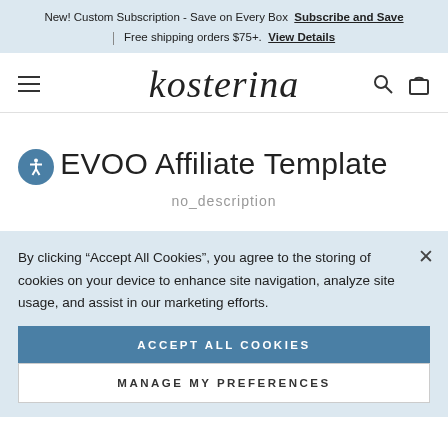New! Custom Subscription - Save on Every Box  Subscribe and Save  |  Free shipping orders $75+.  View Details
[Figure (logo): Kosterina brand logo in cursive script with hamburger menu, search and bag icons in navigation bar]
EVOO Affiliate Template
no_description
By clicking “Accept All Cookies”, you agree to the storing of cookies on your device to enhance site navigation, analyze site usage, and assist in our marketing efforts.
ACCEPT ALL COOKIES
MANAGE MY PREFERENCES